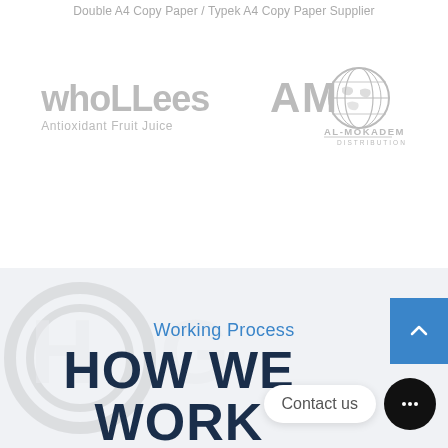Double A4 Copy Paper / Typek A4 Copy Paper Supplier
[Figure (logo): whoLLees Antioxidant Fruit Juice logo in gray]
[Figure (logo): AL-MOKADEM Distribution logo with AMO globe emblem in gray]
Working Process
HOW WE WORK